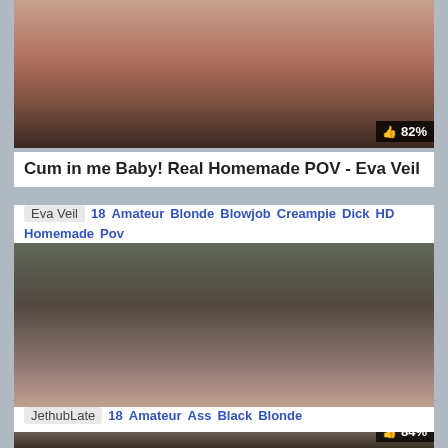[Figure (screenshot): Video thumbnail for first video, showing explicit adult content, with 82% rating badge]
Cum in me Baby! Real Homemade POV - Eva Veil
Eva Veil  18  Amateur  Blonde  Blowjob  Creampie  Dick  HD  Homemade  Pov
[Figure (screenshot): Video thumbnail for second video, showing explicit adult content, with 84% rating badge]
Perfect Ass Teen in Sexy Lingerie Riding Big Black Dildo
JethubLate  18  Amateur  Ass  Black  Blonde  Dildo  Fetish  HD  Homemade